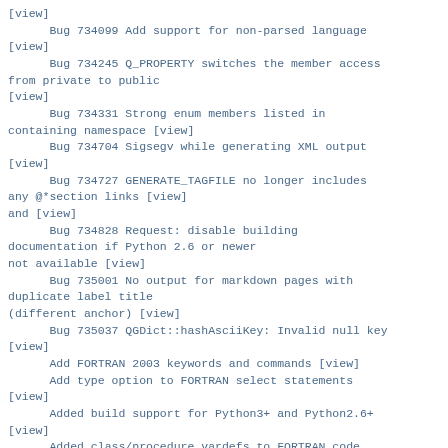[view]
Bug 734099 Add support for non-parsed language [view]
Bug 734245 Q_PROPERTY switches the member access from private to public
[view]
Bug 734331 Strong enum members listed in containing namespace [view]
Bug 734704 Sigsegv while generating XML output [view]
Bug 734727 GENERATE_TAGFILE no longer includes any @*section links [view]
and [view]
Bug 734828 Request: disable building documentation if Python 2.6 or newer
not available [view]
Bug 735001 No output for markdown pages with duplicate label title
(different anchor) [view]
Bug 735037 QGDict::hashAsciiKey: Invalid null key [view]
Add FORTRAN 2003 keywords and commands [view]
Add type option to FORTRAN select statements [view]
Added build support for Python3+ and Python2.6+ [view]
Added class/procedure vardefs to FORTRAN code highlighting [view]
Added documentation for some missing HTML commands [view]